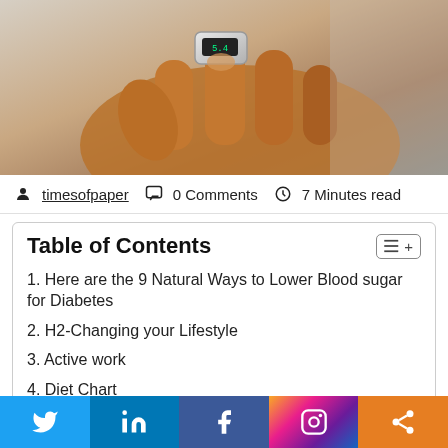[Figure (photo): Close-up photo of a person's hand using a blood glucose monitoring device on their finger]
timesofpaper  0 Comments  7 Minutes read
Table of Contents
1. Here are the 9 Natural Ways to Lower Blood sugar for Diabetes
2. H2-Changing your Lifestyle
3. Active work
4. Diet Chart
5. H2-Eat Fewer Refined Carbs and Sugars
6. H2-Eat More Fiber-Rich Food
7. H2-Drink Plenty of Water Every Day